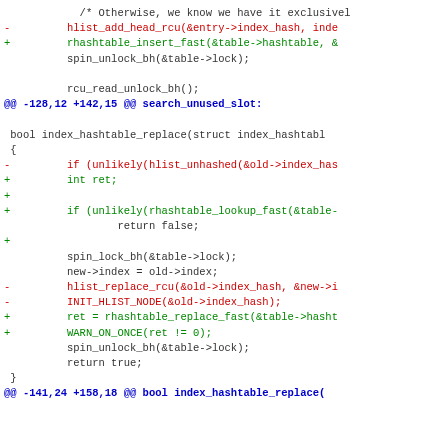/* Otherwise, we know we have it exclusivel
-         hlist_add_head_rcu(&entry->index_hash, inde
+         rhashtable_insert_fast(&table->hashtable, &
          spin_unlock_bh(&table->lock);

          rcu_read_unlock_bh();
@@ -128,12 +142,15 @@ search_unused_slot:

 bool index_hashtable_replace(struct index_hashtabl
 {
-         if (unlikely(hlist_unhashed(&old->index_has
+         int ret;
+
+         if (unlikely(rhashtable_lookup_fast(&table-
                  return false;
+
          spin_lock_bh(&table->lock);
          new->index = old->index;
-         hlist_replace_rcu(&old->index_hash, &new->i
-         INIT_HLIST_NODE(&old->index_hash);
+         ret = rhashtable_replace_fast(&table->hasht
+         WARN_ON_ONCE(ret != 0);
          spin_unlock_bh(&table->lock);
          return true;
 }
@@ -141,24 +158,18 @@ bool index_hashtable_replace(